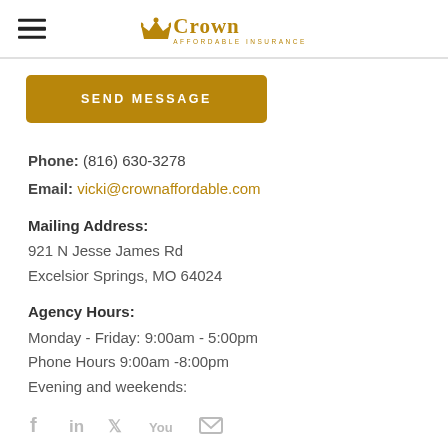Crown Affordable Insurance
[Figure (logo): Crown Affordable Insurance logo with crown icon and gold text]
SEND MESSAGE
Phone: (816) 630-3278
Email: vicki@crownaffordable.com
Mailing Address:
921 N Jesse James Rd
Excelsior Springs, MO 64024
Agency Hours:
Monday - Friday: 9:00am - 5:00pm
Phone Hours 9:00am -8:00pm
Evening and weekends:
By Appointment
[Figure (illustration): Social media icons: Facebook, LinkedIn, Twitter, YouTube, Email]